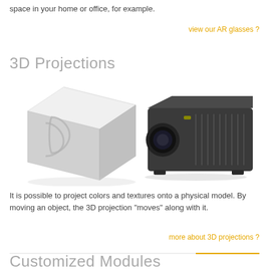space in your home or office, for example.
view our AR glasses ?
3D Projections
[Figure (illustration): A white 3D cube with a logo on its face, and a dark grey digital projector beside it, both shown on a white background.]
It is possible to project colors and textures onto a physical model. By moving an object, the 3D projection “moves” along with it.
more about 3D projections ?
Customized Modules